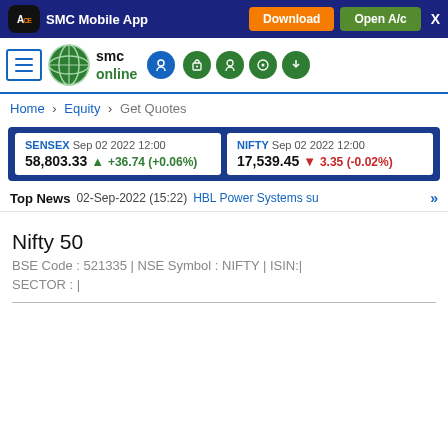SMC Mobile App | Download | Open A/c
[Figure (logo): SMC Online logo with globe icon and navigation icons]
Home > Equity > Get Quotes
| Index | Date | Value | Change |
| --- | --- | --- | --- |
| SENSEX | Sep 02 2022 12:00 | 58,803.33 | +36.74 (+0.06%) |
| NIFTY | Sep 02 2022 12:00 | 17,539.45 | -3.35 (-0.02%) |
Top News   02-Sep-2022 (15:22)   HBL Power Systems su >>
Nifty 50
BSE Code : 521335 | NSE Symbol : NIFTY | ISIN:|
SECTOR : |